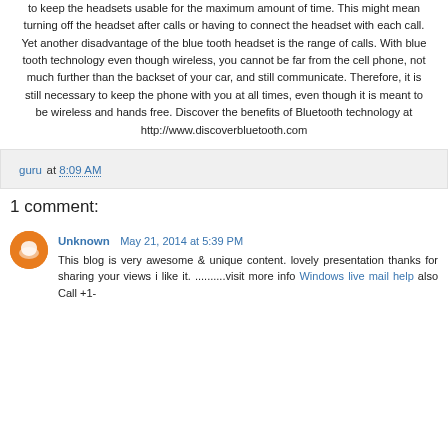to keep the headsets usable for the maximum amount of time. This might mean turning off the headset after calls or having to connect the headset with each call. Yet another disadvantage of the blue tooth headset is the range of calls. With blue tooth technology even though wireless, you cannot be far from the cell phone, not much further than the backset of your car, and still communicate. Therefore, it is still necessary to keep the phone with you at all times, even though it is meant to be wireless and hands free. Discover the benefits of Bluetooth technology at http://www.discoverbluetooth.com
guru at 8:09 AM
1 comment:
Unknown May 21, 2014 at 5:39 PM
This blog is very awesome & unique content. lovely presentation thanks for sharing your views i like it. ..........visit more info Windows live mail help also Call +1-